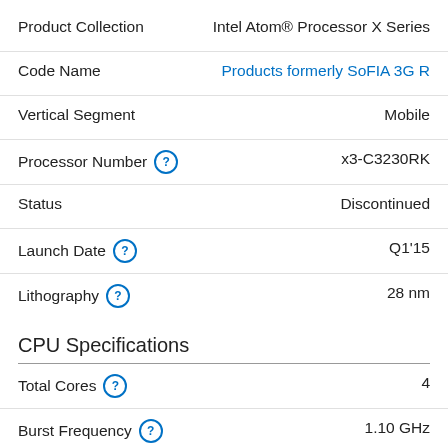| Property | Value |
| --- | --- |
| Product Collection | Intel Atom® Processor X Series |
| Code Name | Products formerly SoFIA 3G R |
| Vertical Segment | Mobile |
| Processor Number | x3-C3230RK |
| Status | Discontinued |
| Launch Date | Q1'15 |
| Lithography | 28 nm |
CPU Specifications
| Property | Value |
| --- | --- |
| Total Cores | 4 |
| Burst Frequency | 1.10 GHz |